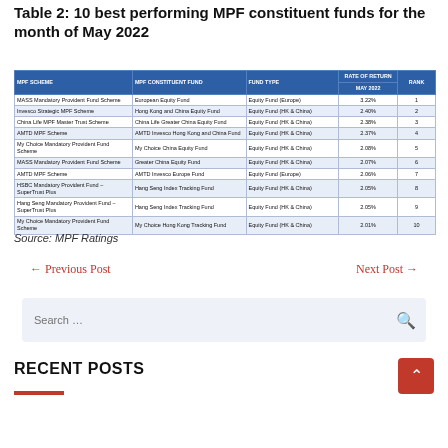Table 2: 10 best performing MPF constituent funds for the month of May 2022
| MPF SCHEME | MPF CONSTITUENT FUND | FUND TYPE | RATE OF RETURN MAY 2022 | RANK |
| --- | --- | --- | --- | --- |
| MASS Mandatory Provident Fund Scheme | European Equity Fund | Equity Fund (Europe) | 3.22% | 1 |
| Invesco Strategic MPF Scheme | Hong Kong and China Equity Fund | Equity Fund (HK & China) | 2.40% | 2 |
| China Life MPF Master Trust Scheme | China Life Greater China Equity Fund | Equity Fund (HK & China) | 2.38% | 3 |
| AMTD MPF Scheme | AMTD Invesco Hong Kong and China Fund | Equity Fund (HK & China) | 2.37% | 4 |
| My Choice Mandatory Provident Fund Scheme | My Choice China Equity Fund | Equity Fund (HK & China) | 2.08% | 5 |
| MASS Mandatory Provident Fund Scheme | Greater China Equity Fund | Equity Fund (HK & China) | 2.07% | 6 |
| AMTD MPF Scheme | AMTD Invesco Europe Fund | Equity Fund (Europe) | 2.06% | 7 |
| HSBC Mandatory Provident Fund – SuperTrust Plus | Hang Seng Index Tracking Fund | Equity Fund (HK & China) | 2.05% | 8 |
| Hang Seng Mandatory Provident Fund – SuperTrust Plus | Hang Seng Index Tracking Fund | Equity Fund (HK & China) | 2.05% | 9 |
| My Choice Mandatory Provident Fund Scheme | My Choice Hong Kong Tracking Fund | Equity Fund (HK & China) | 2.01% | 10 |
Source: MPF Ratings
← Previous Post
Next Post →
Search ...
RECENT POSTS